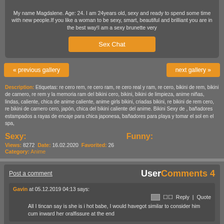My name Magdalene. Age: 24. I am 24years old, sexy and ready to spend some time with new people.If you like a woman to be sexy, smart, beautiful and brilliant you are in the best way!I am a sexy brunette very
Sex Chat
« previous gallery
next gallery »
Description: Etiquetas: re cero rem, re cero ram, re cero real y ram, re cero, bikini de rem, bikini de carnero, re rem y la memoria ram del bikini cero, bikini, bikini de limpieza, anime niñas, lindas, caliente, chica de anime caliente, anime girls bikini, criadas bikini, re bikini de rem cero, re bikini de carnero cero, japón, chica del bikini caliente del anime. Bikini Sexy de , bañadores estampados a rayas de encaje para chica japonesa, bañadores para playa y tomar el sol en el spa,
Sexy:
Funny:
Views: 8272 Date: 16.02.2020 Favorited: 26
Category: Anime
Post a comment
User Comments 4
Gavin at 05.12.2019 04:13 says:
All I tincan say is she is i hot babe, I would havegot similar to consider him cum inward her oralfissure at the end